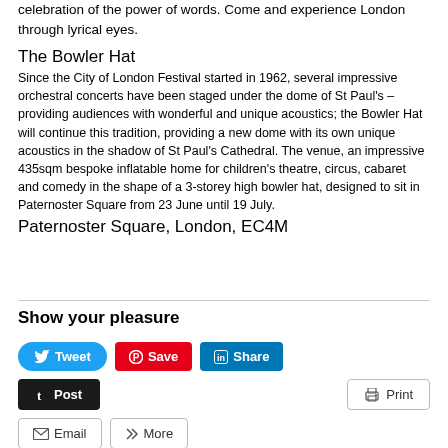celebration of the power of words. Come and experience London through lyrical eyes.
The Bowler Hat
Since the City of London Festival started in 1962, several impressive orchestral concerts have been staged under the dome of St Paul's – providing audiences with wonderful and unique acoustics; the Bowler Hat will continue this tradition, providing a new dome with its own unique acoustics in the shadow of St Paul's Cathedral. The venue, an impressive 435sqm bespoke inflatable home for children's theatre, circus, cabaret and comedy in the shape of a 3-storey high bowler hat, designed to sit in Paternoster Square from 23 June until 19 July.
Paternoster Square, London, EC4M
Show your pleasure
[Figure (infographic): Social sharing buttons: Tweet (Twitter, blue), Save (Pinterest, red), Share (LinkedIn, blue), Post (Tumblr, dark), Print (gray outline), Email (gray outline), More (gray outline)]